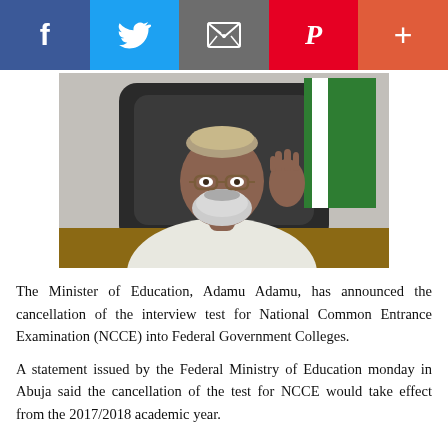[Figure (photo): Portrait photo of Adamu Adamu, Minister of Education, seated at a desk, raising his right hand, wearing white traditional attire and glasses, with a Nigerian flag in the background.]
The Minister of Education, Adamu Adamu, has announced the cancellation of the interview test for National Common Entrance Examination (NCCE) into Federal Government Colleges.
A statement issued by the Federal Ministry of Education monday in Abuja said the cancellation of the test for NCCE would take effect from the 2017/2018 academic year.